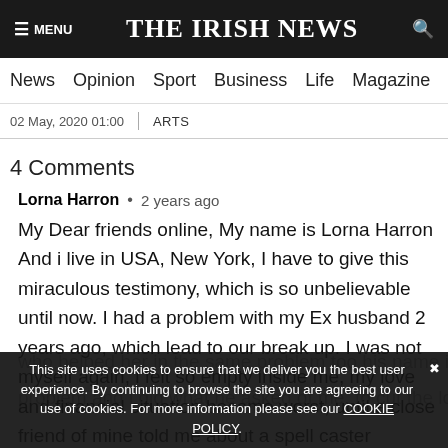≡ MENU   THE IRISH NEWS   🔍
News  Opinion  Sport  Business  Life  Magazine  Arts
02 May, 2020 01:00  |  ARTS
4 Comments
Lorna Harron • 2 years ago
My Dear friends online, My name is Lorna Harron And i live in USA, New York, I have to give this miraculous testimony, which is so unbelievable until now. I had a problem with my Ex husband 2 years ago, which lead to our break up. I was not myself again, i felt so empty inside me, my love and financial situation became worst, until a close friend of mine told me about a spell caster who helped her in the same problem too his name is problem and i did what he asked of me, to cut the long
This site uses cookies to ensure that we deliver you the best user experience. By continuing to browse the site you are agreeing to our use of cookies. For more information please see our COOKIE POLICY.